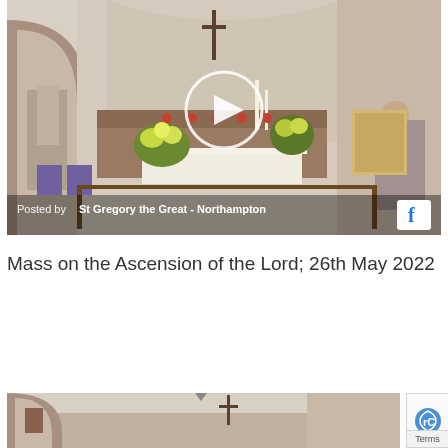[Figure (screenshot): Facebook video thumbnail showing interior of St Gregory the Great Catholic Church in Northampton. Church altar with flowers, wooden railings, arched walls, religious icons and a person at a lectern. A circular play button overlay is visible in the center. Overlay bar at bottom reads 'Posted by St Gregory the Great - Northampton' with Facebook icon.]
Posted by St Gregory the Great - Northampton
Mass on the Ascension of the Lord; 26th May 2022
[Figure (screenshot): Partial thumbnail of a second Facebook video showing the same church interior, partially visible at bottom of page.]